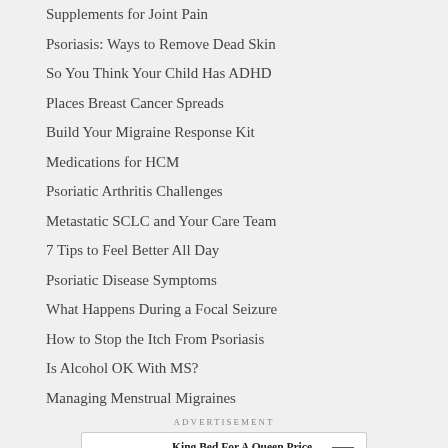Supplements for Joint Pain
Psoriasis: Ways to Remove Dead Skin
So You Think Your Child Has ADHD
Places Breast Cancer Spreads
Build Your Migraine Response Kit
Medications for HCM
Psoriatic Arthritis Challenges
Metastatic SCLC and Your Care Team
7 Tips to Feel Better All Day
Psoriatic Disease Symptoms
What Happens During a Focal Seizure
How to Stop the Itch From Psoriasis
Is Alcohol OK With MS?
Managing Menstrual Migraines
ADVERTISEMENT
[Figure (other): Advertisement banner for Mattress Firm Potomac Run Plaza with logo, play button, arrow icon, and text 'King Bed For A Queen Price Now']